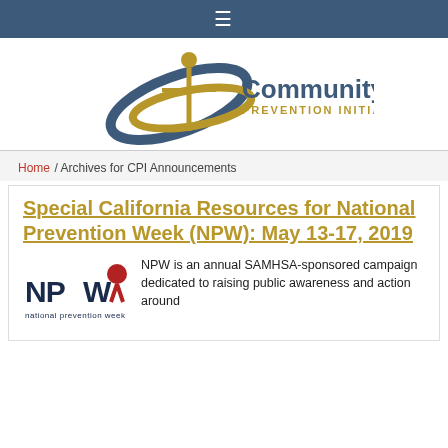☰
[Figure (logo): Community Prevention Initiative logo with stylized blue/gold ellipse and figure, with text 'Community PREVENTION INITIATIVE']
Home / Archives for CPI Announcements
Special California Resources for National Prevention Week (NPW): May 13-17, 2019
[Figure (logo): NPW National Prevention Week logo in dark navy and red]
NPW is an annual SAMHSA-sponsored campaign dedicated to raising public awareness and action around